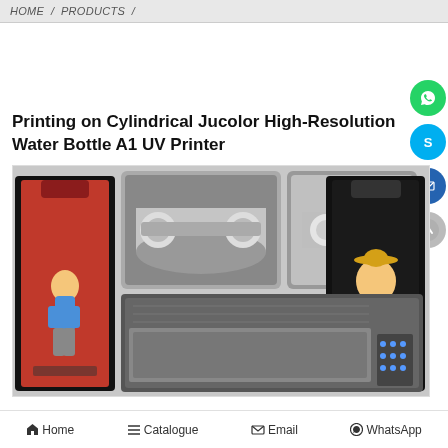HOME / PRODUCTS /
Printing on Cylindrical Jucolor High-Resolution Water Bottle A1 UV Printer
[Figure (photo): Product photo collage showing a red water bottle with anime print, close-up shots of the UV printer cylindrical attachment mechanism, a black water bottle with anime character print, and the UV printer machine itself.]
Home   Catalogue   Email   WhatsApp